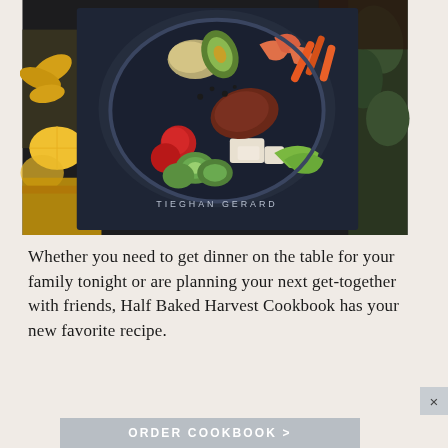[Figure (photo): A dark cookbook titled 'TIEGHAN GERARD' with a large colorful food bowl on the cover, placed on a dark surface with sunflowers and citrus fruits visible in the background.]
Whether you need to get dinner on the table for your family tonight or are planning your next get-together with friends, Half Baked Harvest Cookbook has your new favorite recipe.
[Figure (other): Close button (×) in grey square]
[Figure (other): Grey button with text 'ORDER COOKBOOK >']